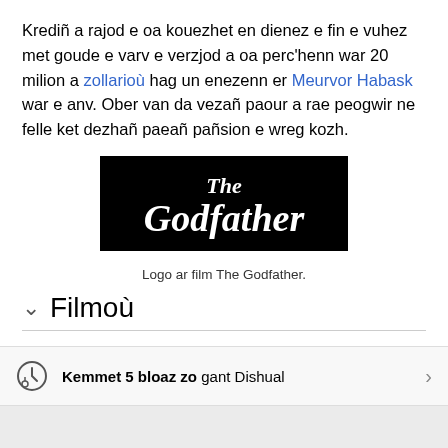Krediñ a rajod e oa kouezhet en dienez e fin e vuhez met goude e varv e verzjod a oa perc'henn war 20 milion a zollarioù hag un enezenn er Meurvor Habask war e anv. Ober van da vezañ paour a rae peogwir ne felle ket dezhañ paeañ pañsion e wreg kozh.
[Figure (logo): The Godfather movie logo — white stylized text on black background]
Logo ar film The Godfather.
Filmoù
Kemmet 5 bloaz zo gant Dishual